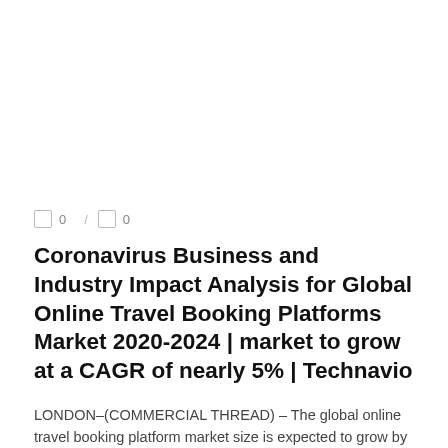0 / 0
Coronavirus Business and Industry Impact Analysis for Global Online Travel Booking Platforms Market 2020-2024 | market to grow at a CAGR of nearly 5% | Technavio
LONDON–(COMMERCIAL THREAD) – The global online travel booking platform market size is expected to grow by USD 204.81 billion during the period 2020-2024, growing at a ...
READ MORE